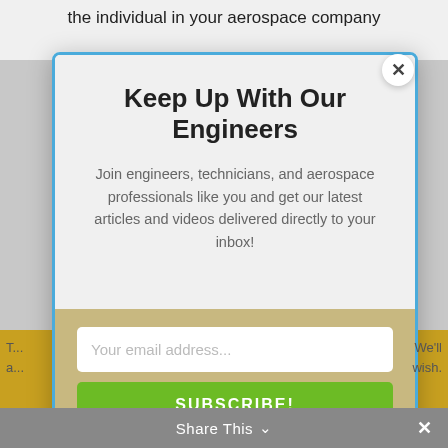the individual in your aerospace company
[Figure (screenshot): Email subscription modal popup with blue border, title 'Keep Up With Our Engineers', subtitle text, email input field, green subscribe button, and privacy disclaimer. A close (X) button is in the top-right corner.]
Keep Up With Our Engineers
Join engineers, technicians, and aerospace professionals like you and get our latest articles and videos delivered directly to your inbox!
Your email address...
SUBSCRIBE!
Duotech will never sell, rent, lease or give away your information to any third party. You can unsubscribe at anytime.
Share This ∨